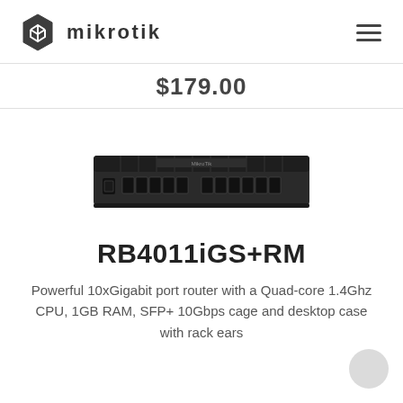MikroTik
$179.00
[Figure (photo): MikroTik RB4011iGS+RM router product photo — a flat rack-mountable black network router with multiple ethernet ports and an SFP+ port on the front panel]
RB4011iGS+RM
Powerful 10xGigabit port router with a Quad-core 1.4Ghz CPU, 1GB RAM, SFP+ 10Gbps cage and desktop case with rack ears